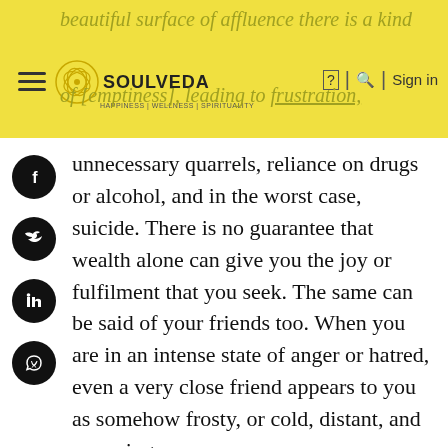beautiful surface of affluence there is a kind of [emptiness], leading to frustration,
[Figure (logo): Soulveda logo with circular golden emblem and text 'SOULVEDA HAPPINESS | WELLNESS | SPIRITUALITY']
[Figure (infographic): Social media share icons: Facebook, Twitter, LinkedIn, WhatsApp - black circular buttons on left sidebar]
unnecessary quarrels, reliance on drugs or alcohol, and in the worst case, suicide. There is no guarantee that wealth alone can give you the joy or fulfilment that you seek. The same can be said of your friends too. When you are in an intense state of anger or hatred, even a very close friend appears to you as somehow frosty, or cold, distant, and annoying.
However, as human beings we are gifted with this wonderful human intelligence. Besides that, all human beings have the